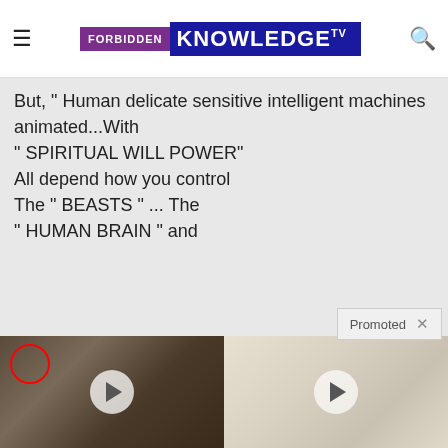FORBIDDEN KNOWLEDGE TV
But, " Human delicate sensitive intelligent machines animated...With " SPIRITUAL WILL POWER" All depend how you control The " BEASTS " ... The " HUMAN BRAIN " and
Promoted ×
[Figure (screenshot): Video thumbnail showing group of people in formal setting with CIA logo on floor, red circle around one person on left, play button overlay]
Biden Probably Wants This Video Destroyed — Massive Currency Upheaval Has Started
Watch The Video
[Figure (photo): Video thumbnail showing white sugar cubes or marshmallows close-up, with play button overlay]
One Bite of This Keeps Blood Sugar Below 100 (Try Tonight)
Watch The Video